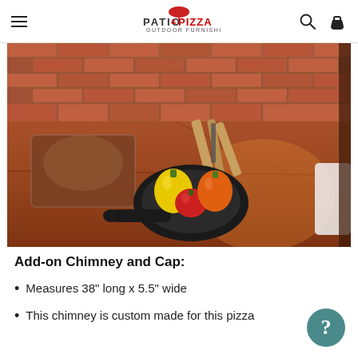Patio & Pizza Outdoor Furnishings — navigation header with search and cart icons
[Figure (photo): A cast iron skillet with yellow, red, and orange bell peppers inside, sitting on a terracotta/clay pizza oven hearth surface. Behind the skillet are wrapped items and firewood. The background shows a brick wall.]
Add-on Chimney and Cap:
Measures 38" long x 5.5" wide
This chimney is custom made for this pizza